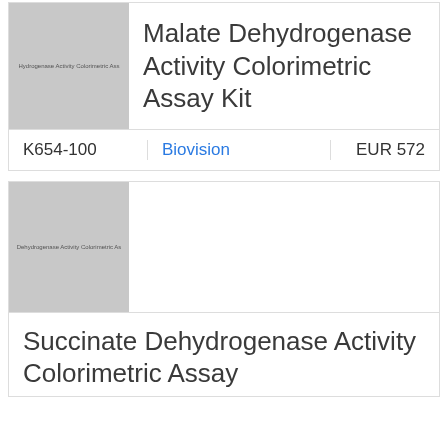[Figure (photo): Thumbnail image of product packaging for Malate Dehydrogenase Activity Colorimetric Assay Kit with gray background and small text label]
Malate Dehydrogenase Activity Colorimetric Assay Kit
| Catalog | Vendor |  | Price |
| --- | --- | --- | --- |
| K654-100 | Biovision |  | EUR 572 |
[Figure (photo): Thumbnail image of product packaging for Succinate Dehydrogenase Activity Colorimetric Assay Kit with gray background and small text label]
Succinate Dehydrogenase Activity Colorimetric Assay